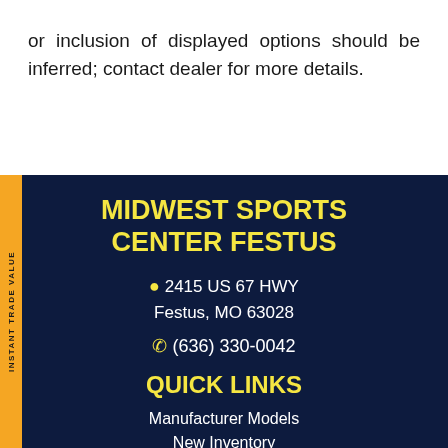or inclusion of displayed options should be inferred; contact dealer for more details.
INSTANT TRADE VALUE
MIDWEST SPORTS CENTER FESTUS
2415 US 67 HWY Festus, MO 63028
(636) 330-0042
QUICK LINKS
Manufacturer Models
New Inventory